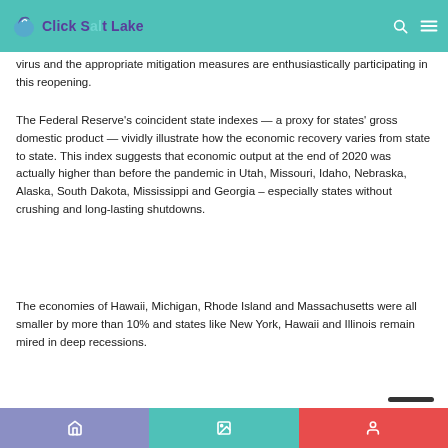Click Salt Lake
virus and the appropriate mitigation measures are enthusiastically participating in this reopening.
The Federal Reserve's coincident state indexes — a proxy for states' gross domestic product — vividly illustrate how the economic recovery varies from state to state. This index suggests that economic output at the end of 2020 was actually higher than before the pandemic in Utah, Missouri, Idaho, Nebraska, Alaska, South Dakota, Mississippi and Georgia – especially states without crushing and long-lasting shutdowns.
The economies of Hawaii, Michigan, Rhode Island and Massachusetts were all smaller by more than 10% and states like New York, Hawaii and Illinois remain mired in deep recessions.